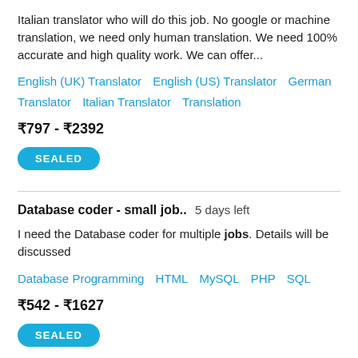Italian translator who will do this job. No google or machine translation, we need only human translation. We need 100% accurate and high quality work. We can offer...
English (UK) Translator   English (US) Translator   German Translator   Italian Translator   Translation
₹797 - ₹2392
SEALED
Database coder - small job..   5 days left
I need the Database coder for multiple jobs. Details will be discussed
Database Programming   HTML   MySQL   PHP   SQL
₹542 - ₹1627
SEALED